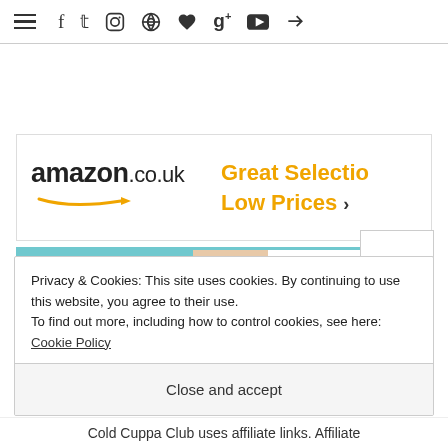Navigation bar with hamburger menu and social icons: Facebook, Twitter, Instagram, Pinterest, Heart, Google+, YouTube, RSS
[Figure (screenshot): Amazon.co.uk advertisement banner: amazon.co.uk logo with arrow smile, text 'Great Selection Low Prices' in orange with arrow]
[Figure (screenshot): FontBundles.net advertisement banner: teal background with logo and hand image, 'FREE FO[NTS] FOR A LIMITED T[IME]' text]
Privacy & Cookies: This site uses cookies. By continuing to use this website, you agree to their use.
To find out more, including how to control cookies, see here: Cookie Policy
Close and accept
Cold Cuppa Club uses affiliate links. Affiliate